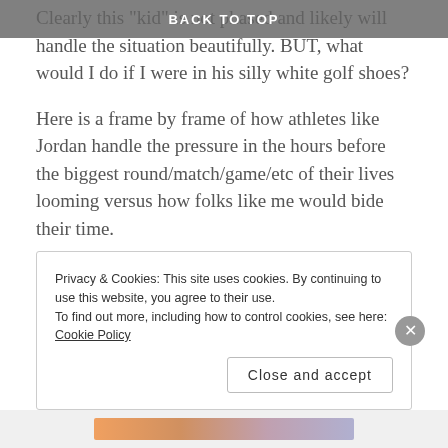BACK TO TOP
Clearly this "kid" is not phased and likely will handle the situation beautifully. BUT, what would I do if I were in his silly white golf shoes?
Here is a frame by frame of how athletes like Jordan handle the pressure in the hours before the biggest round/match/game/etc of their lives looming versus how folks like me would bide their time.
8:00PM Saturday:
Jordan Speith:  Sign his card, shake a few hands, give a few hugs and visit the practice green to fine tune a few points
Privacy & Cookies: This site uses cookies. By continuing to use this website, you agree to their use.
To find out more, including how to control cookies, see here: Cookie Policy
Close and accept